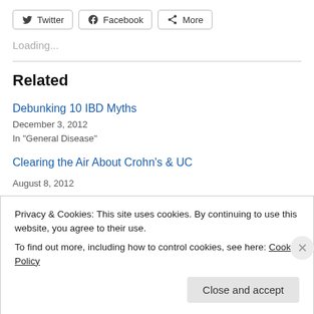[Figure (other): Social share buttons: Twitter, Facebook, More]
Loading...
Related
Debunking 10 IBD Myths
December 3, 2012
In "General Disease"
Clearing the Air About Crohn's & UC
August 8, 2012
Privacy & Cookies: This site uses cookies. By continuing to use this website, you agree to their use.
To find out more, including how to control cookies, see here: Cookie Policy
Close and accept